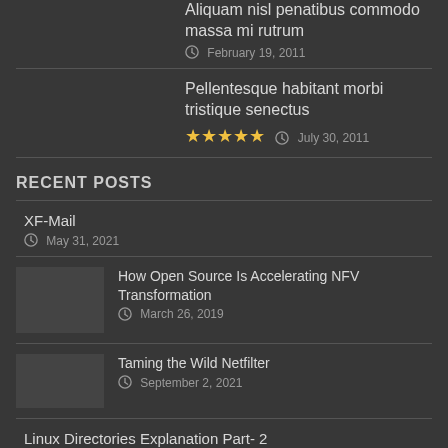Aliquam nisl penatibus commodo massa mi rutrum
February 19, 2011
Pellentesque habitant morbi tristique senectus
★★★★★ July 30, 2011
RECENT POSTS
XF-Mail
May 31, 2021
How Open Source Is Accelerating NFV Transformation
March 26, 2019
Taming the Wild Netfilter
September 2, 2021
Linux Directories Explanation Part- 2
December 30, 2020